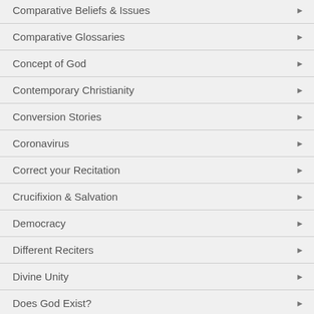Comparative Beliefs & Issues
Comparative Glossaries
Concept of God
Contemporary Christianity
Conversion Stories
Coronavirus
Correct your Recitation
Crucifixion & Salvation
Democracy
Different Reciters
Divine Unity
Does God Exist?
Double Reward